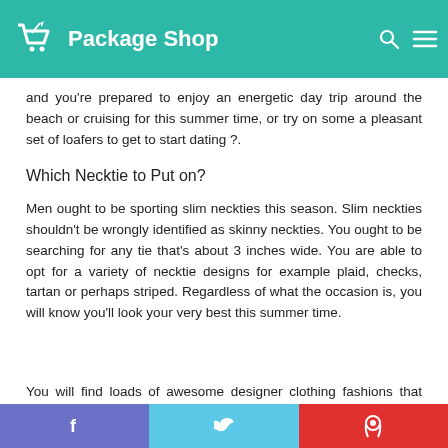Package Shop
and you're prepared to enjoy an energetic day trip around the beach or cruising for this summer time, or try on some a pleasant set of loafers to get to start dating ?.
Which Necktie to Put on?
Men ought to be sporting slim neckties this season. Slim neckties shouldn't be wrongly identified as skinny neckties. You ought to be searching for any tie that's about 3 inches wide. You are able to opt for a variety of necktie designs for example plaid, checks, tartan or perhaps striped. Regardless of what the occasion is, you will know you'll look your very best this summer time.
You will find loads of awesome designer clothing fashions that
f  t  p